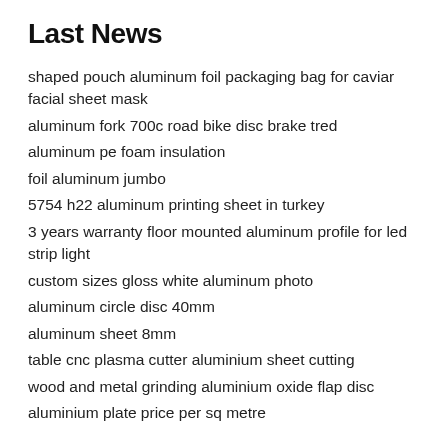Last News
shaped pouch aluminum foil packaging bag for caviar facial sheet mask
aluminum fork 700c road bike disc brake tred
aluminum pe foam insulation
foil aluminum jumbo
5754 h22 aluminum printing sheet in turkey
3 years warranty floor mounted aluminum profile for led strip light
custom sizes gloss white aluminum photo
aluminum circle disc 40mm
aluminum sheet 8mm
table cnc plasma cutter aluminium sheet cutting
wood and metal grinding aluminium oxide flap disc
aluminium plate price per sq metre